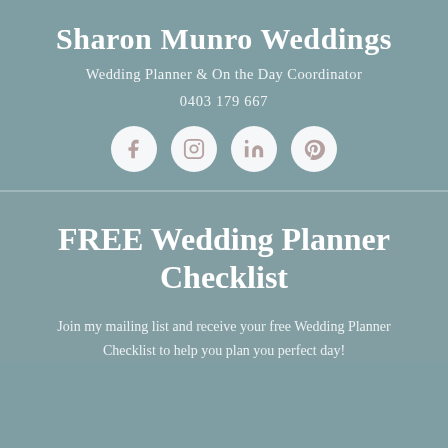Sharon Munro Weddings
Wedding Planner & On the Day Coordinator
0403 179 667
[Figure (infographic): Four social media icons in white circles: Facebook, Instagram, LinkedIn, Pinterest]
FREE Wedding Planner Checklist
Join my mailing list and receive your free Wedding Planner Checklist to help you plan you perfect day!